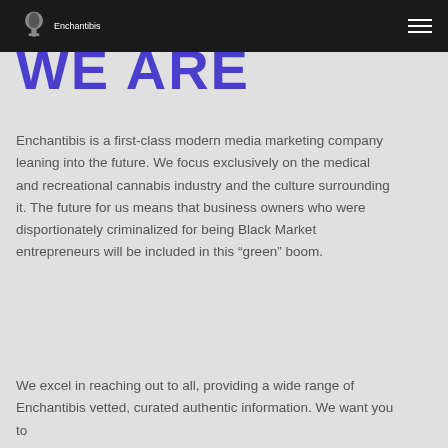Enchantibis [logo] [hamburger menu]
WE ARE
Enchantibis is a first-class modern media marketing company leaning into the future. We focus exclusively on the medical and recreational cannabis industry and the culture surrounding it. The future for us means that business owners who were disportionately criminalized for being Black Market entrepreneurs will be included in this “green” boom.
We excel in reaching out to all, providing a wide range of Enchantibis vetted, curated authentic information. We want you to